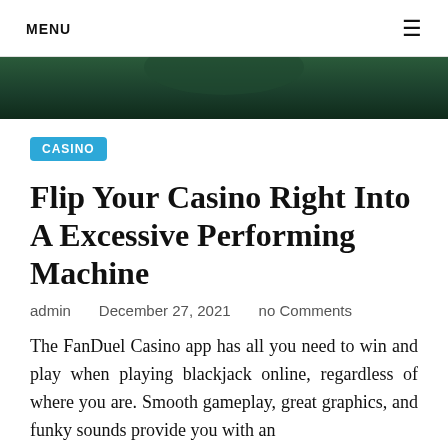MENU ☰
[Figure (photo): Dark green casino table background image (partial, cropped at top)]
CASINO
Flip Your Casino Right Into A Excessive Performing Machine
admin   December 27, 2021   no Comments
The FanDuel Casino app has all you need to win and play when playing blackjack online, regardless of where you are. Smooth gameplay, great graphics, and funky sounds provide you with an